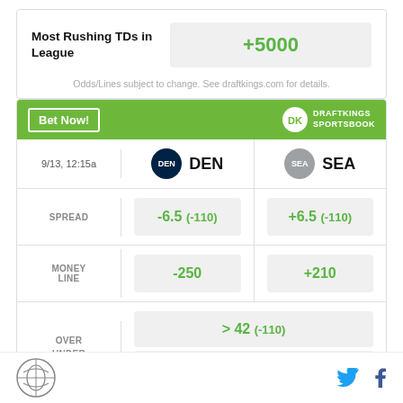| Bet Type | Odds |
| --- | --- |
| Most Rushing TDs in League | +5000 |
Odds/Lines subject to change. See draftkings.com for details.
[Figure (other): DraftKings Sportsbook betting widget showing DEN vs SEA game on 9/13 12:15a. Spread: DEN -6.5 (-110), SEA +6.5 (-110). Money Line: DEN -250, SEA +210. Over/Under: > 42 (-110).]